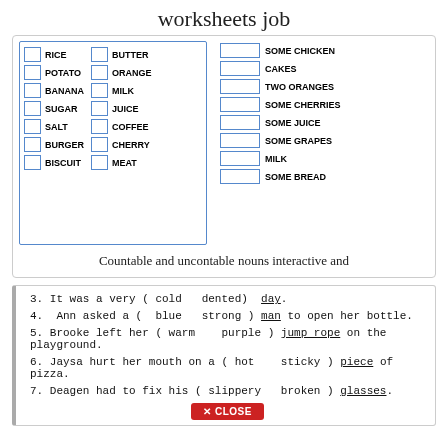worksheets job
[Figure (illustration): Educational worksheet showing two columns of food items (RICE, POTATO, BANANA, SUGAR, SALT, BURGER, BISCUIT and BUTTER, ORANGE, MILK, JUICE, COFFEE, CHERRY, MEAT) with checkboxes, and a right column listing: SOME CHICKEN, CAKES, TWO ORANGES, SOME CHERRIES, SOME JUICE, SOME GRAPES, MILK, SOME BREAD with blank boxes.]
Countable and uncontable nouns interactive and
3. It was a very ( cold  dented)  day.
4.  Ann asked a (  blue  strong ) man to open her bottle.
5. Brooke left her ( warm   purple ) jump rope on the playground.
6. Jaysa hurt her mouth on a ( hot   sticky ) piece of pizza.
7. Deagen had to fix his ( slippery  broken ) glasses.